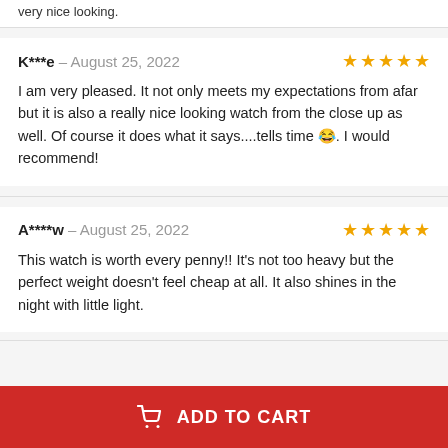very nice looking.
K***e – August 25, 2022
⭐⭐⭐⭐⭐
I am very pleased. It not only meets my expectations from afar but it is also a really nice looking watch from the close up as well. Of course it does what it says....tells time 😂. I would recommend!
A****w – August 25, 2022
⭐⭐⭐⭐⭐
This watch is worth every penny!! It's not too heavy but the perfect weight doesn't feel cheap at all. It also shines in the night with little light.
ADD TO CART